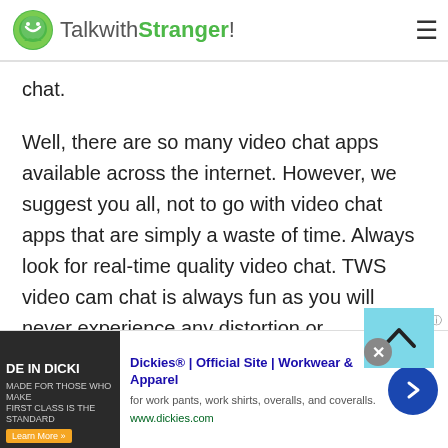TalkwithStranger!
chat.
Well, there are so many video chat apps available across the internet. However, we suggest you all, not to go with video chat apps that are simply a waste of time. Always look for real-time quality video chat. TWS video cam chat is always fun as you will never experience any distortion or inconvenience. Yes, your online video calls will not be going to be dropped or crappy. A good quality video with no registration and signup process makes your online experience amazing and of course
[Figure (screenshot): Advertisement for Dickies workwear showing 'DE IN DICKI' banner image, with text 'Dickies® | Official Site | Workwear & Apparel', 'for work pants, work shirts, overalls, and coveralls.', 'www.dickies.com']